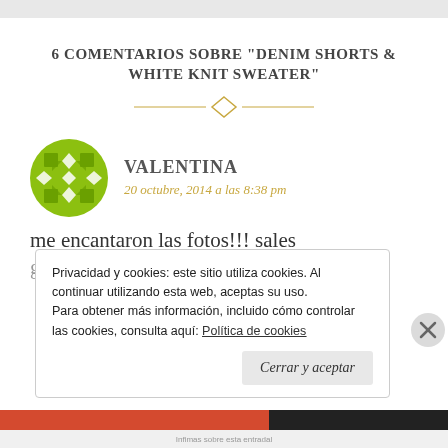6 COMENTARIOS SOBRE “DENIM SHORTS & WHITE KNIT SWEATER”
[Figure (illustration): Decorative diamond/rhombus divider with horizontal lines on each side, golden/amber color]
[Figure (illustration): Green mosaic/geometric circular avatar for user Valentina]
VALENTINA
20 octubre, 2014 a las 8:38 pm
me encantaron las fotos!!! sales
Privacidad y cookies: este sitio utiliza cookies. Al continuar utilizando esta web, aceptas su uso.
Para obtener más información, incluido cómo controlar las cookies, consulta aquí: Política de cookies
Cerrar y aceptar